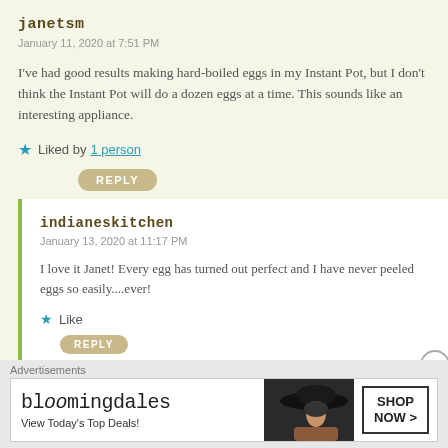janetsm
January 11, 2020 at 7:51 PM
I've had good results making hard-boiled eggs in my Instant Pot, but I don't think the Instant Pot will do a dozen eggs at a time. This sounds like an interesting appliance.
Liked by 1 person
REPLY
indianeskitchen
January 13, 2020 at 11:17 PM
I love it Janet! Every egg has turned out perfect and I have never peeled eggs so easily....ever!
Like
REPLY
Advertisements
[Figure (other): Bloomingdale's advertisement banner with logo, 'View Today's Top Deals!' text, a woman in a large hat, and a 'SHOP NOW >' button]